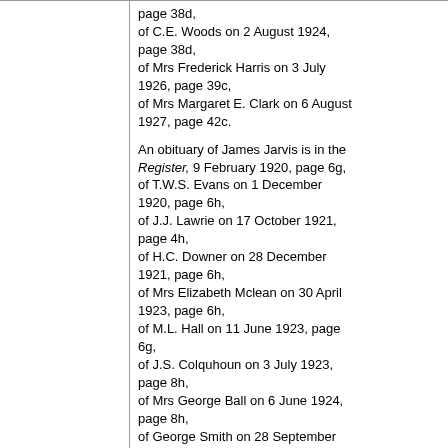page 38d, of C.E. Woods on 2 August 1924, page 38d, of Mrs Frederick Harris on 3 July 1926, page 39c, of Mrs Margaret E. Clark on 6 August 1927, page 42c.
An obituary of James Jarvis is in the Register, 9 February 1920, page 6g, of T.W.S. Evans on 1 December 1920, page 6h, of J.J. Lawrie on 17 October 1921, page 4h, of H.C. Downer on 28 December 1921, page 6h, of Mrs Elizabeth Mclean on 30 April 1923, page 6h, of M.L. Hall on 11 June 1923, page 6g, of J.S. Colquhoun on 3 July 1923, page 8h, of Mrs George Ball on 6 June 1924, page 8h, of George Smith on 28 September 1925, page 8h.
An obituary of Mrs R.B. Cox is in the Register, 11 February 1926, page 8g, of Mrs Frederick Harris on 30 June 1926, page 8i, of Mrs Eleanor J. Elix on 15 July 1927, page 8f, of H.W. Waterhouse on 16 and 18 January 1928, pages 14c and 8g, of Mrs Walter Torode on 7 September 1928, page 12f ,